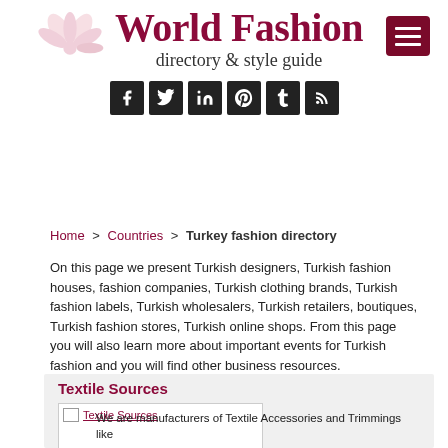[Figure (logo): World Fashion directory & style guide logo with pink flower decoration and social media icons]
Home > Countries > Turkey fashion directory
On this page we present Turkish designers, Turkish fashion houses, fashion companies, Turkish clothing brands, Turkish fashion labels, Turkish wholesalers, Turkish retailers, boutiques, Turkish fashion stores, Turkish online shops. From this page you will also learn more about important events for Turkish fashion and you will find other business resources.
Textile Sources
[Figure (screenshot): Textile Sources listing box with image placeholder and link]
We are manufacturers of Textile Accessories and Trimmings like